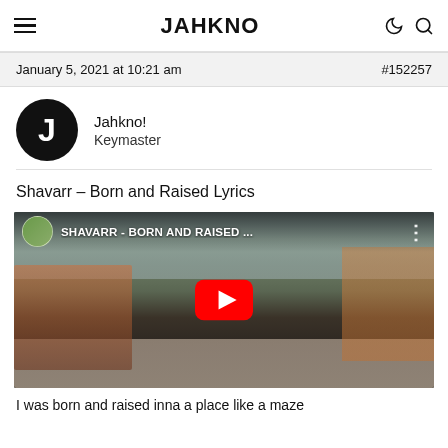JAHKNO
January 5, 2021 at 10:21 am
#152257
Jahkno!
Keymaster
Shavarr – Born and Raised Lyrics
[Figure (screenshot): YouTube video thumbnail for SHAVARR - BORN AND RAISED with red play button overlay. Shows a man with dreadlocks sitting on a street in a Caribbean neighborhood setting.]
I was born and raised inna a place like a maze